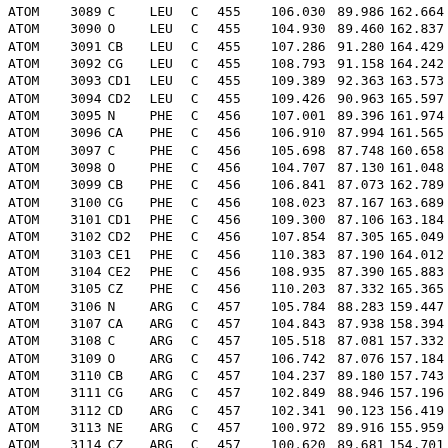| record | serial | name | resName | chainID | resSeq | x | y | z |
| --- | --- | --- | --- | --- | --- | --- | --- | --- |
| ATOM | 3089 | C | LEU | C | 455 | 106.030 | 89.986 | 162.664 |
| ATOM | 3090 | O | LEU | C | 455 | 104.930 | 89.460 | 162.837 |
| ATOM | 3091 | CB | LEU | C | 455 | 107.286 | 91.280 | 164.429 |
| ATOM | 3092 | CG | LEU | C | 455 | 108.793 | 91.158 | 164.242 |
| ATOM | 3093 | CD1 | LEU | C | 455 | 109.389 | 92.363 | 163.573 |
| ATOM | 3094 | CD2 | LEU | C | 455 | 109.426 | 90.963 | 165.597 |
| ATOM | 3095 | N | PHE | C | 456 | 107.001 | 89.396 | 161.974 |
| ATOM | 3096 | CA | PHE | C | 456 | 106.910 | 87.994 | 161.565 |
| ATOM | 3097 | C | PHE | C | 456 | 105.698 | 87.748 | 160.658 |
| ATOM | 3098 | O | PHE | C | 456 | 104.707 | 87.130 | 161.048 |
| ATOM | 3099 | CB | PHE | C | 456 | 106.841 | 87.073 | 162.789 |
| ATOM | 3100 | CG | PHE | C | 456 | 108.023 | 87.167 | 163.689 |
| ATOM | 3101 | CD1 | PHE | C | 456 | 109.300 | 87.106 | 163.184 |
| ATOM | 3102 | CD2 | PHE | C | 456 | 107.854 | 87.305 | 165.049 |
| ATOM | 3103 | CE1 | PHE | C | 456 | 110.383 | 87.190 | 164.012 |
| ATOM | 3104 | CE2 | PHE | C | 456 | 108.935 | 87.390 | 165.883 |
| ATOM | 3105 | CZ | PHE | C | 456 | 110.203 | 87.332 | 165.365 |
| ATOM | 3106 | N | ARG | C | 457 | 105.784 | 88.283 | 159.447 |
| ATOM | 3107 | CA | ARG | C | 457 | 104.843 | 87.938 | 158.394 |
| ATOM | 3108 | C | ARG | C | 457 | 105.518 | 87.081 | 157.332 |
| ATOM | 3109 | O | ARG | C | 457 | 106.742 | 87.076 | 157.184 |
| ATOM | 3110 | CB | ARG | C | 457 | 104.237 | 89.180 | 157.743 |
| ATOM | 3111 | CG | ARG | C | 457 | 102.849 | 88.946 | 157.196 |
| ATOM | 3112 | CD | ARG | C | 457 | 102.341 | 90.123 | 156.419 |
| ATOM | 3113 | NE | ARG | C | 457 | 100.972 | 89.916 | 155.959 |
| ATOM | 3114 | CZ | ARG | C | 457 | 100.620 | 89.681 | 154.701 |
| ATOM | 3115 | NH1 | ARG | C | 457 | 101.522 | 89.610 | 153.741 |
| ATOM | 3116 | NH2 | ARG | C | 457 | 99.346 | 89.511 | 154.403 |
| ATOM | 3117 | N | LYS | C | 458 | 104.687 | 86.351 | 156.586 |
| ATOM | 3118 | CA | LYS | C | 458 | 105.178 | 85.424 | 155.573 |